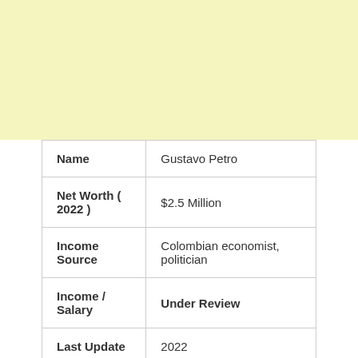[Figure (other): Yellow/cream colored background area at top of page]
| Name | Gustavo Petro |
| Net Worth ( 2022 ) | $2.5 Million |
| Income Source | Colombian economist, politician |
| Income / Salary | Under Review |
| Last Update | 2022 |
Gustavo Petro